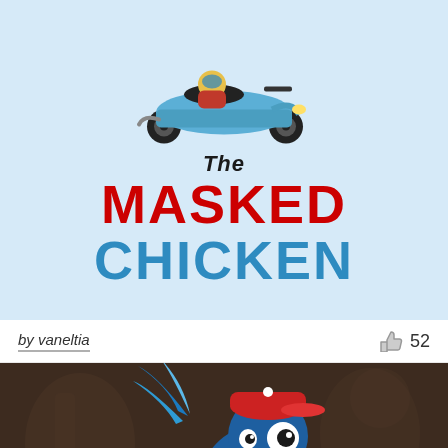[Figure (logo): Logo for 'The Masked Chicken' showing a cartoon blue scooter/moped with a character on top, text 'The MASKED CHICKEN' in black, red, and blue on a light blue background]
by vaneltia
👍 52
[Figure (illustration): Dark brown background illustration of a cartoon woodpecker/bird character wearing a red baseball cap and blue feathers, holding a wrench, with faded dark silhouettes in the background]